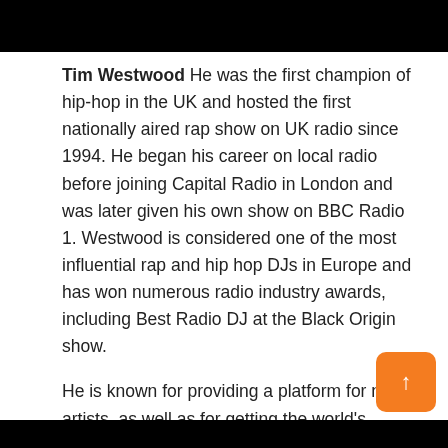[Figure (photo): Black bar at the top of the page]
Tim Westwood He was the first champion of hip-hop in the UK and hosted the first nationally aired rap show on UK radio since 1994. He began his career on local radio before joining Capital Radio in London and was later given his own show on BBC Radio 1. Westwood is considered one of the most influential rap and hip hop DJs in Europe and has won numerous radio industry awards, including Best Radio DJ at the Black Origin show.
He is known for providing a platform for new artists, as well as for getting the world's biggest rappers into his programs – from Eminem Per Cardi b.
[Figure (photo): Black bar at the bottom of the page]